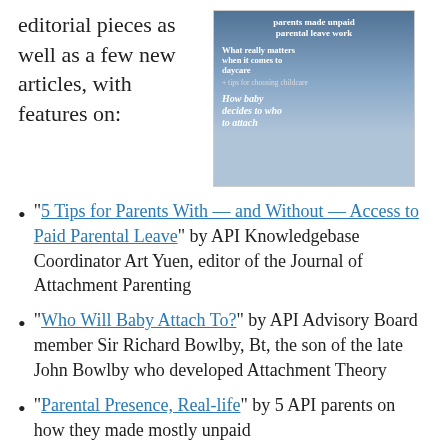editorial pieces as well as a few new articles, with features on:
[Figure (photo): Magazine cover showing a smiling baby with adults in the background, with text about parental leave, daycare, and attachment]
"5 Tips for Parents With — and Without — Access to Paid Parental Leave" by API Knowledgebase Coordinator Art Yuen, editor of the Journal of Attachment Parenting
"Who Will Baby Attach To?" by API Advisory Board member Sir Richard Bowlby, Bt, the son of the late John Bowlby who developed Attachment Theory
"Parental Presence, Real-life" by 5 API parents on how they made mostly unpaid